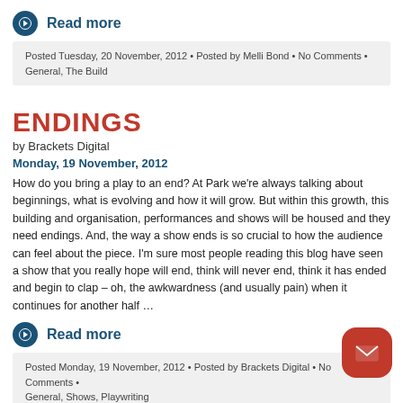Read more
Posted Tuesday, 20 November, 2012 • Posted by Melli Bond • No Comments • General, The Build
ENDINGS
by Brackets Digital
Monday, 19 November, 2012
How do you bring a play to an end? At Park we're always talking about beginnings, what is evolving and how it will grow. But within this growth, this building and organisation, performances and shows will be housed and they need endings. And, the way a show ends is so crucial to how the audience can feel about the piece. I'm sure most people reading this blog have seen a show that you really hope will end, think will never end, think it has ended and begin to clap – oh, the awkwardness (and usually pain) when it continues for another half …
Read more
Posted Monday, 19 November, 2012 • Posted by Brackets Digital • No Comments • General, Shows, Playwriting
UNTITLED